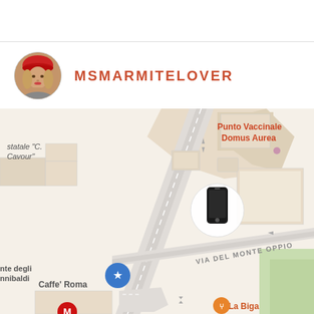MSMARMITELOVER
[Figure (map): Apple Maps screenshot showing a location pin (iPhone device icon) near Via del Monte Oppio in Rome, Italy. Visible landmarks: Punto Vaccinale Domus Aurea, Hostaria da Nerone, Monte degli Annibaldi, Caffe Roma, La Biga. Street labeled VIA DEL MONTE OPPIO.]